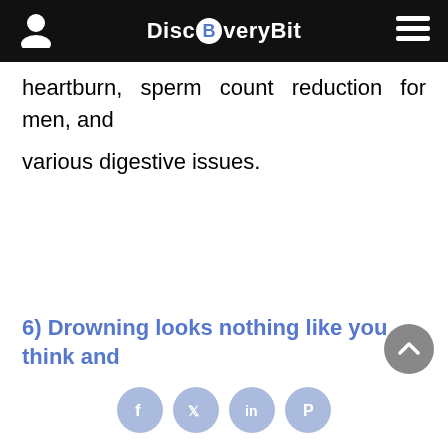DiscBveryBit
heartburn, sperm count reduction for men, and
various digestive issues.
6) Drowning looks nothing like you think and
[Figure (other): Social share icons: Facebook, Twitter, LinkedIn, Pinterest]